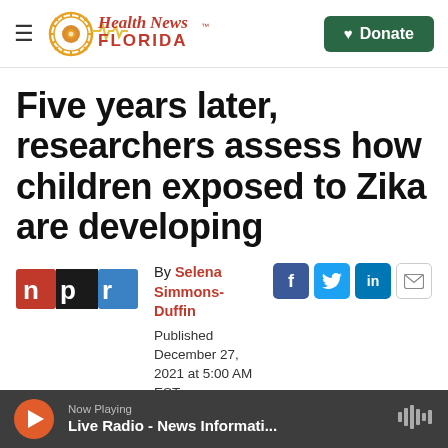Health News Florida — Donate
Five years later, researchers assess how children exposed to Zika are developing
By Selena Simmons-Duffin
Published December 27, 2021 at 5:00 AM EST
[Figure (logo): NPR logo — red, black, and blue rectangular logo with lowercase letters n, p, r]
[Figure (infographic): Social sharing icons: Facebook (blue), Twitter (blue), LinkedIn (blue), Email (white/grey)]
Now Playing
Live Radio - News Informati...